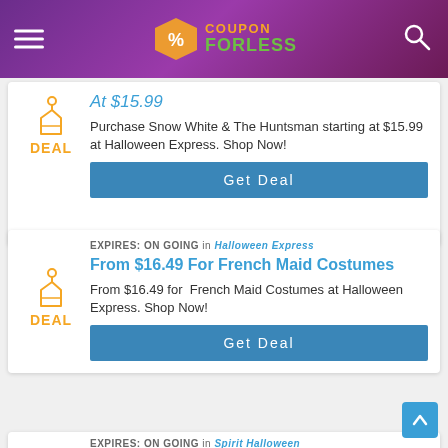Coupon ForLess
At $15.99
Purchase Snow White & The Huntsman starting at $15.99 at Halloween Express. Shop Now!
Get Deal
EXPIRES: ON GOING in Halloween Express
From $16.49 For French Maid Costumes
From $16.49 for  French Maid Costumes at Halloween Express. Shop Now!
Get Deal
EXPIRES: ON GOING in Spirit Halloween